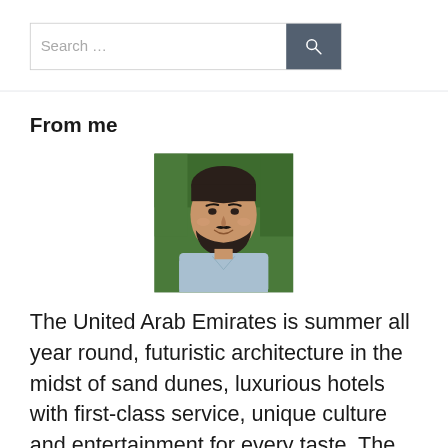[Figure (screenshot): Search bar with text 'Search ...' and a dark grey search button with magnifying glass icon]
From me
[Figure (photo): Portrait photo of a man with a beard, smiling, wearing a light blue shirt, with green foliage in the background]
The United Arab Emirates is summer all year round, futuristic architecture in the midst of sand dunes, luxurious hotels with first-class service, unique culture and entertainment for every taste. The Emirates were created to